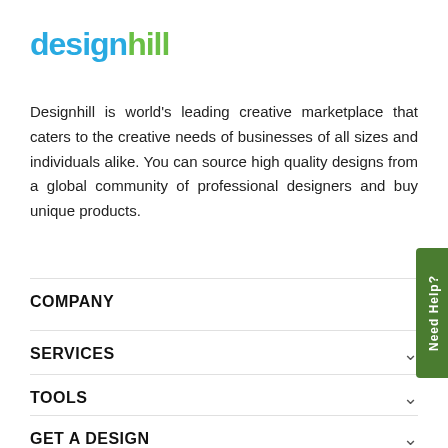[Figure (logo): Designhill logo — 'design' in blue, 'hill' in green, bold sans-serif]
Designhill is world's leading creative marketplace that caters to the creative needs of businesses of all sizes and individuals alike. You can source high quality designs from a global community of professional designers and buy unique products.
COMPANY
SERVICES
TOOLS
GET A DESIGN
RESOURCES